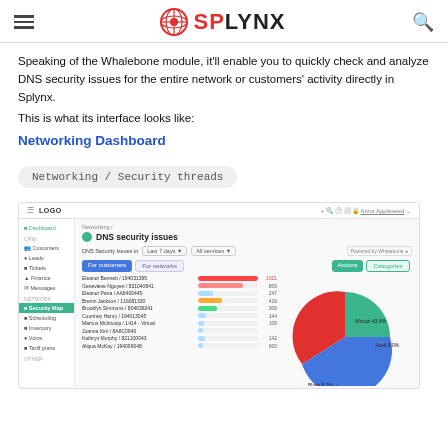SPLYNX
Speaking of the Whalebone module, it'll enable you to quickly check and analyze DNS security issues for the entire network or customers' activity directly in Splynx.
This is what its interface looks like:
Networking Dashboard
Networking / Security threads
[Figure (screenshot): Screenshot of the Splynx application showing the DNS security issues networking dashboard with a sidebar navigation, filter bar, list of customers with security threat bars, and a pie chart showing distribution of security categories.]